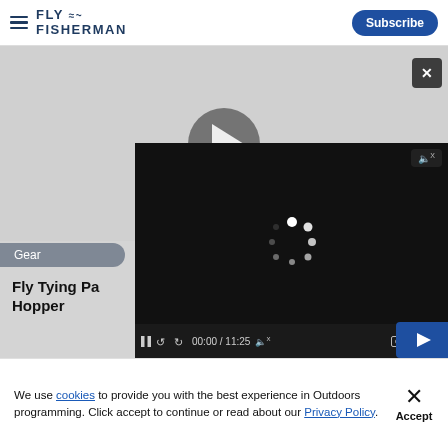FLY FISHERMAN
[Figure (screenshot): Video player interface showing a large grey preview area with a play button circle, an embedded dark video player with loading spinner and controls showing 00:00 / 11:25, a Gear category tag, and partial article title 'Fly Tying Pa... Hopper']
We use cookies to provide you with the best experience in Outdoors programming. Click accept to continue or read about our Privacy Policy.